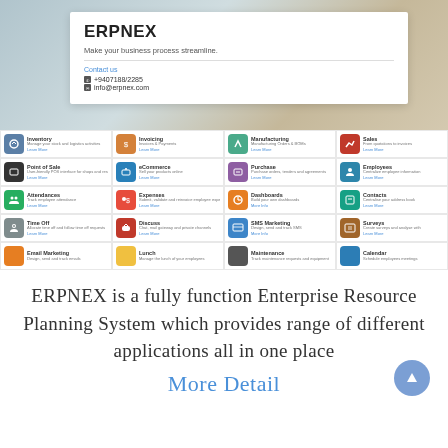[Figure (screenshot): ERPNEX ERP system screenshot showing a white card overlay with company name, tagline, contact information, and a grid of application module tiles including Inventory, Invoicing, Manufacturing, Sales, Point of Sale, eCommerce, Purchase, Employees, Attendances, Expenses, Dashboards, Contacts, Time Off, Discuss, SMS Marketing, Surveys, Email Marketing, Lunch, Maintenance, Calendar]
ERPNEX is a fully function Enterprise Resource Planning System which provides range of different applications all in one place
More Detail